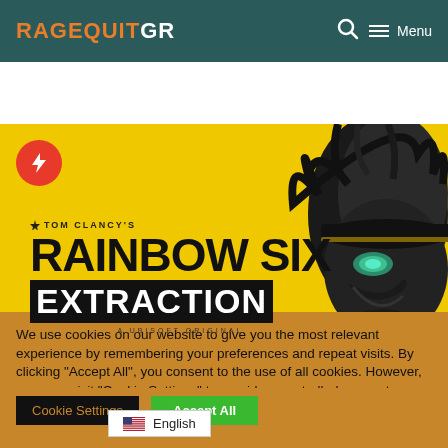RageQuitGR  🔍  Menu
[Figure (screenshot): Tom Clancy's Rainbow Six Extraction game promotional image on yellow background with a creature/monster character on the right side and a lightning bolt badge on the upper left]
We use cookies on our website to give you the most relevant experience by remembering your preferences and repeat visits. By clicking "Accept All", you consent to the use of all cookies. However, you may visit "Cookie Settings" to provide a controlled consent.
Cookie Settings  Accept All  English